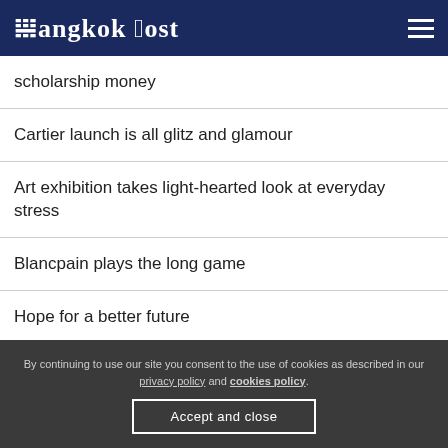Bangkok Post
scholarship money
Cartier launch is all glitz and glamour
Art exhibition takes light-hearted look at everyday stress
Blancpain plays the long game
Hope for a better future
By continuing to use our site you consent to the use of cookies as described in our privacy policy and cookies policy.
Accept and close